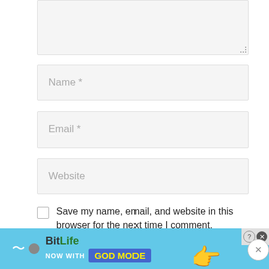[Figure (screenshot): Partially visible textarea input field (comment box) with light gray background and dotted resize handle at bottom-right corner]
[Figure (screenshot): Text input field with placeholder text 'Name *' in light gray]
[Figure (screenshot): Text input field with placeholder text 'Email *' in light gray]
[Figure (screenshot): Text input field with placeholder text 'Website' in light gray]
Save my name, email, and website in this browser for the next time I comment.
[Figure (screenshot): Dark gray 'Post Comment' button]
[Figure (screenshot): BitLife advertisement banner: 'NOW WITH GOD MODE' on a blue background with pointing hand graphic]